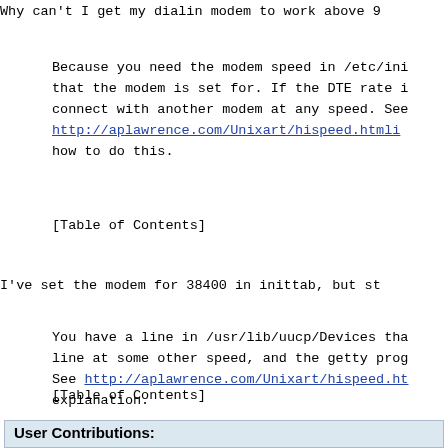Why can't I get my dialin modem to work above 9
Because you need the modem speed in /etc/ini that the modem is set for. If the DTE rate i connect with another modem at any speed. See http://aplawrence.com/Unixart/hispeed.htmli how to do this.
[Table of Contents]
I've set the modem for 38400 in inittab, but st
You have a line in /usr/lib/uucp/Devices tha line at some other speed, and the getty prog See http://aplawrence.com/Unixart/hispeed.ht explanation.
[Table of Contents]
User Contributions: